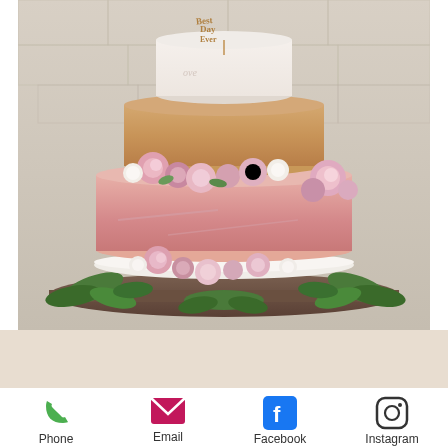[Figure (photo): Three-tiered wedding cake with floral decorations. Bottom tier is pink/blush, middle tier is gold/champagne, top tier is white with script writing. Pink and white flowers between tiers and at base. Cake topper reads 'Best Day Ever'. Set on a wooden stand with greenery against a stone wall background.]
Phone
Email
Facebook
Instagram